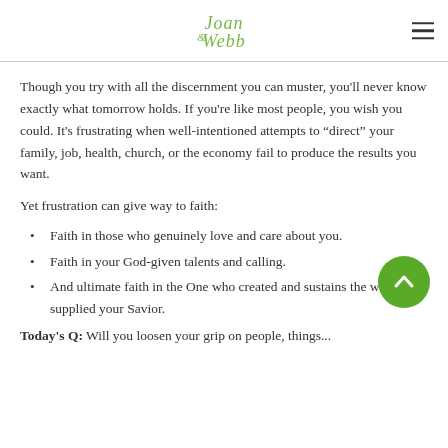Joan Webb
Though you try with all the discernment you can muster, you'll never know exactly what tomorrow holds. If you're like most people, you wish you could. It's frustrating when well-intentioned attempts to “direct” your family, job, health, church, or the economy fail to produce the results you want.
Yet frustration can give way to faith:
Faith in those who genuinely love and care about you.
Faith in your God-given talents and calling.
And ultimate faith in the One who created and sustains the world and supplied your Savior.
Today’s Q: Will you loosen your grip on people, things...